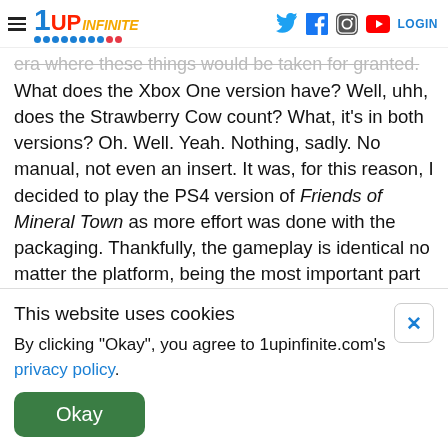1UP Infinite — navigation header with hamburger menu, logo, social icons (Twitter, Facebook, Instagram, YouTube), LOGIN
era where these things would be taken for granted. What does the Xbox One version have? Well, uhh, does the Strawberry Cow count? What, it's in both versions? Oh. Well. Yeah. Nothing, sadly. No manual, not even an insert. It was, for this reason, I decided to play the PS4 version of Friends of Mineral Town as more effort was done with the packaging. Thankfully, the gameplay is identical no matter the platform, being the most important part of a game and all.
This website uses cookies
By clicking "Okay", you agree to 1upinfinite.com's privacy policy.
Okay